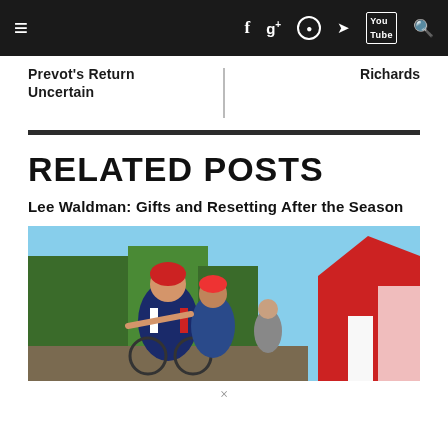≡  f  g+  ○  🐦  You Tube  🔍
Prevot's Return Uncertain
Richards
RELATED POSTS
Lee Waldman: Gifts and Resetting After the Season
[Figure (photo): Cyclist in a red, white and blue jersey racing on a bike, outdoors event setting with trees and a red tent visible in background.]